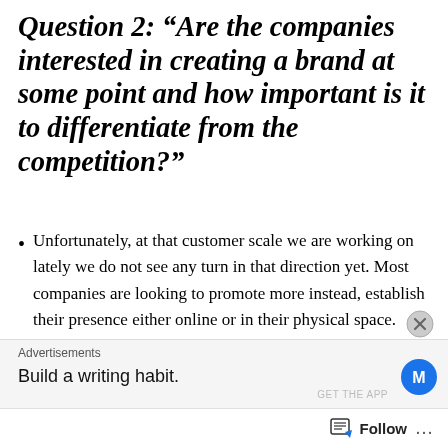Question 2: “Are the companies interested in creating a brand at some point and how important is it to differentiate from the competition?”
Unfortunately, at that customer scale we are working on lately we do not see any turn in that direction yet. Most companies are looking to promote more instead, establish their presence either online or in their physical space. However, there is a minority that is looking further to branding and we’re getting excited when that happens. Differentiation is a huge process for us, and we take it very seriously. Huge amounts of
Advertisements
Build a writing habit.